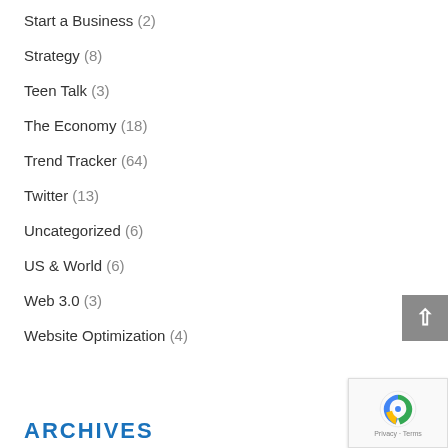Start a Business (2)
Strategy (8)
Teen Talk (3)
The Economy (18)
Trend Tracker (64)
Twitter (13)
Uncategorized (6)
US & World (6)
Web 3.0 (3)
Website Optimization (4)
ARCHIVES